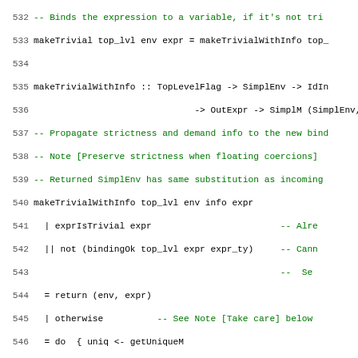Source code listing lines 532-563, Haskell source code for makeTrivial and makeTrivialWithInfo functions